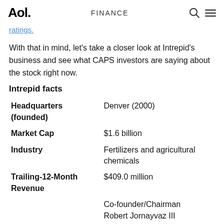Aol. FINANCE
ratings.
With that in mind, let's take a closer look at Intrepid's business and see what CAPS investors are saying about the stock right now.
Intrepid facts
|  |  |
| --- | --- |
| Headquarters (founded) | Denver (2000) |
| Market Cap | $1.6 billion |
| Industry | Fertilizers and agricultural chemicals |
| Trailing-12-Month Revenue | $409.0 million |
|  | Co-founder/Chairman Robert Jornayvaz III |